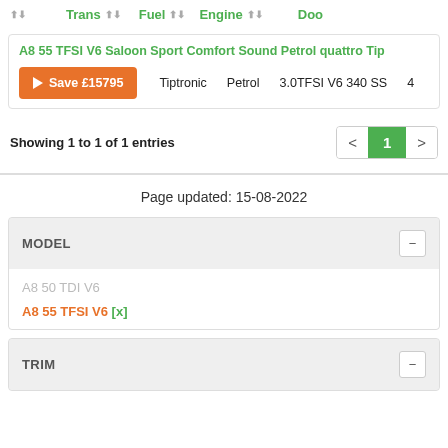| Trans | Fuel | Engine | Doo |
| --- | --- | --- | --- |
| Tiptronic | Petrol | 3.0TFSI V6 340 SS | 4 |
A8 55 TFSI V6 Saloon Sport Comfort Sound Petrol quattro Tip
▶ Save £15795   Tiptronic   Petrol   3.0TFSI V6 340 SS   4
Showing 1 to 1 of 1 entries
Page updated: 15-08-2022
MODEL
A8 50 TDI V6
A8 55 TFSI V6 [x]
TRIM